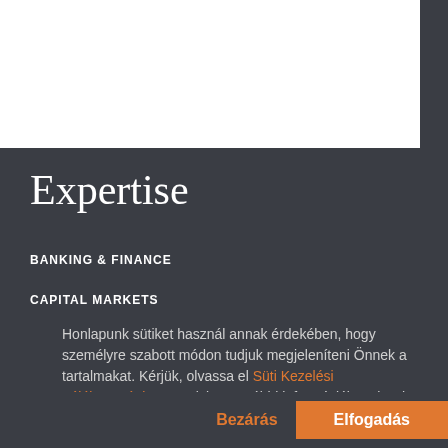Expertise
BANKING & FINANCE
CAPITAL MARKETS
Honlapunk sütiket használ annak érdekében, hogy személyre szabott módon tudjuk megjeleníteni Önnek a tartalmakat. Kérjük, olvassa el Süti Kezelési Tájékoztatónkat, amelyben további információkat olvashat a sütikről és azok kezeléséről. Beállításait módosíthatja ezen a linken vagy saját böngészőjének beállításaiban.
Bezárás
Elfogadás